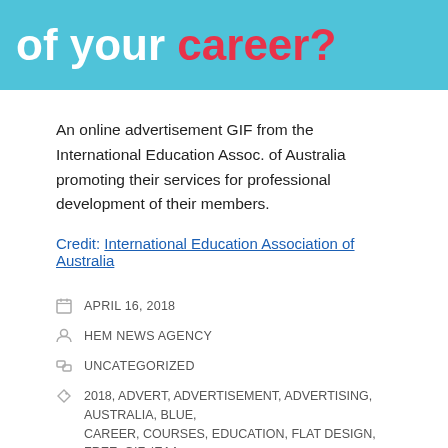[Figure (illustration): Blue banner with white and red bold text reading 'of your career?' — part of an online advertisement GIF from International Education Association of Australia]
An online advertisement GIF from the International Education Assoc. of Australia promoting their services for professional development of their members.
Credit: International Education Association of Australia
APRIL 16, 2018
HEM NEWS AGENCY
UNCATEGORIZED
2018, ADVERT, ADVERTISEMENT, ADVERTISING, AUSTRALIA, BLUE, CAREER, COURSES, EDUCATION, FLAT DESIGN, FREE, GIF, IEAA, INTERNATIONAL EDUCATION ASSOCIATION OF AUSTRALIA, INTERNET, LEARNING, PROFESSIONAL, PROFESSIONAL